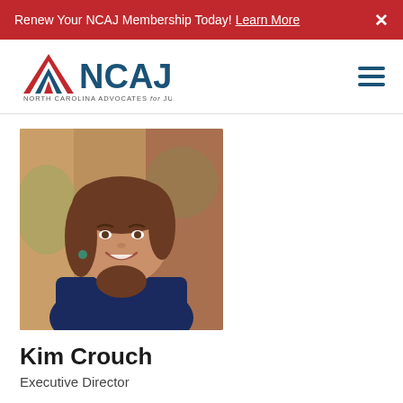Renew Your NCAJ Membership Today! Learn More  ×
[Figure (logo): NCAJ North Carolina Advocates for Justice logo with triangle graphic in red, white, and blue]
[Figure (photo): Headshot photo of Kim Crouch, a woman with brown hair, smiling, wearing a navy top, against a brick background]
Kim Crouch
Executive Director